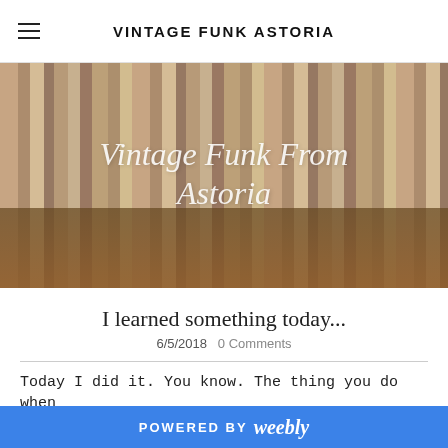VINTAGE FUNK ASTORIA
[Figure (photo): Hero image of vintage toy cars and trucks on a shelf in front of old books. Overlaid italic text reads 'Vintage Funk From Astoria'.]
I learned something today...
6/5/2018   0 Comments
Today I did it. You know. The thing you do when
POWERED BY weebly